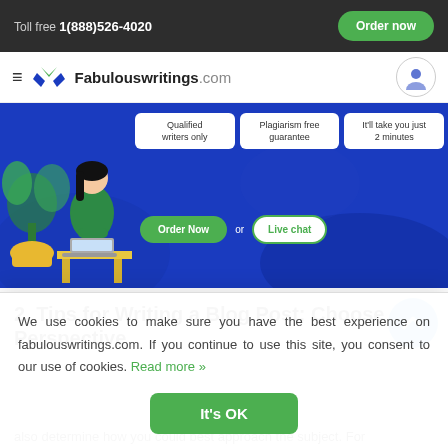Toll free 1(888)526-4020  Order now
Fabulouswritings.com
[Figure (illustration): Blue hero banner with woman sitting at laptop, feature boxes: Qualified writers only, Plagiarism free guarantee, It'll take you just 2 minutes. Buttons: Order Now, or, Live chat.]
2. Tips for Writing a Blog Post: Choose a Perspective
We use cookies to make sure you have the best experience on fabulouswritings.com. If you continue to use this site, you consent to our use of cookies. Read more »
It's OK
also determine how you could best approach the subject. For